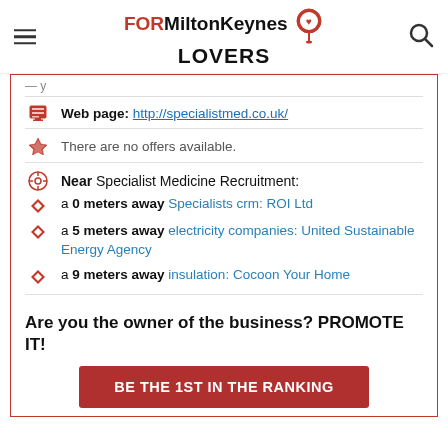FORMiltonKeynes LOVERS
Web page: http://specialistmed.co.uk/
There are no offers available.
Near Specialist Medicine Recruitment:
a 0 meters away Specialists crm: ROI Ltd
a 5 meters away electricity companies: United Sustainable Energy Agency
a 9 meters away insulation: Cocoon Your Home
Are you the owner of the business? PROMOTE IT!
BE THE 1ST IN THE RANKING